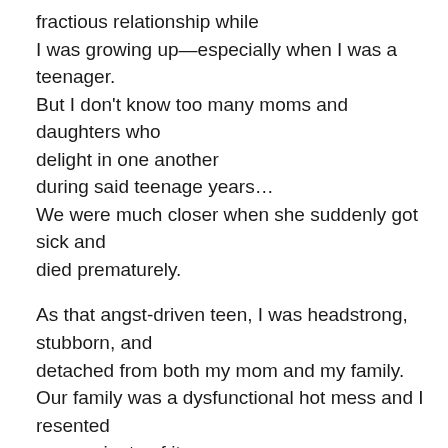fractious relationship while I was growing up—especially when I was a teenager. But I don't know too many moms and daughters who delight in one another during said teenage years… We were much closer when she suddenly got sick and died prematurely.

As that angst-driven teen, I was headstrong, stubborn, and detached from both my mom and my family. Our family was a dysfunctional hot mess and I resented every minute of it.

I've written about that too… all about my brother's mental illness and his inability to cope with his having been adopted…and thankfully we were not